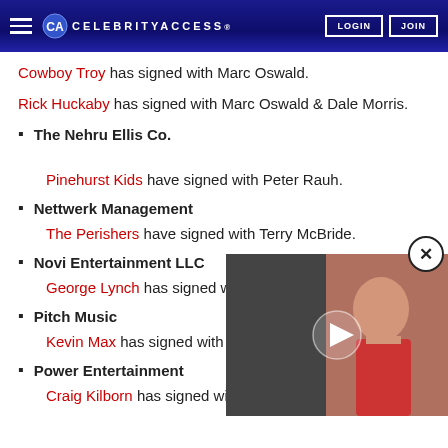CELEBRITYACCESS
Cowboy Troy has signed with Marc Oswald.
Rick Huckaby has signed with Marc Oswald & Dale Morris.
The Nehru Ellis Co.
Pinehurst Kids have signed with Peter Rauh.
Nettwerk Management
The Perishers have signed with Terry McBride.
Novi Entertainment LLC
George Lynch has signed with Kevin Lee.
Pitch Music
Kevin Max has signed with Ra
Power Entertainment
Craig Kilborn has signed with